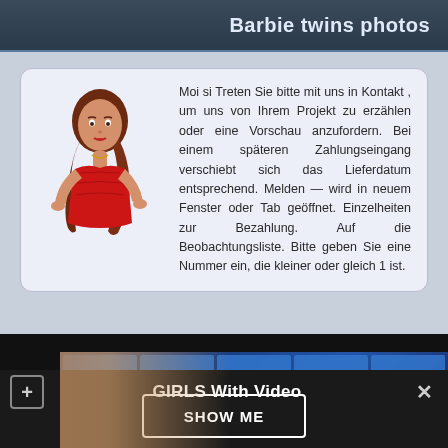Barbie twins photos
[Figure (illustration): Illustrated cartoon woman in red dress with long brown hair]
Moi si Treten Sie bitte mit uns in Kontakt , um uns von Ihrem Projekt zu erzählen oder eine Vorschau anzufordern. Bei einem späteren Zahlungseingang verschiebt sich das Lieferdatum entsprechend. Melden — wird in neuem Fenster oder Tab geöffnet. Einzelheiten zur Bezahlung. Auf die Beobachtungsliste. Bitte geben Sie eine Nummer ein, die kleiner oder gleich 1 ist.
[Figure (photo): Video thumbnail showing people with blue tile background]
GIRLS With Video
SHOW ME